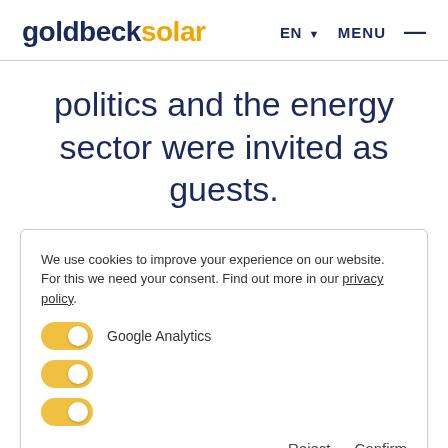goldbecksolar  EN  MENU
politics and the energy sector were invited as guests.
We use cookies to improve your experience on our website. For this we need your consent. Find out more in our privacy policy.
Google Analytics
Reject  Confirm
company from Hirschberg investors, who were